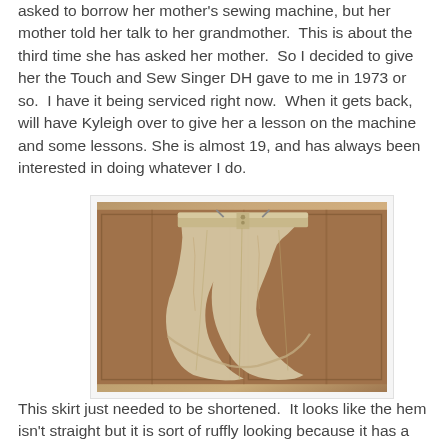asked to borrow her mother's sewing machine, but her mother told her talk to her grandmother.  This is about the third time she has asked her mother.  So I decided to give her the Touch and Sew Singer DH gave to me in 1973 or so.  I have it being serviced right now.  When it gets back, will have Kyleigh over to give her a lesson on the machine and some lessons. She is almost 19, and has always been interested in doing whatever I do.
[Figure (photo): A light beige/cream mini skirt hanging on a wooden cabinet door. The skirt has a waistband, zipper/button closure, and a ruffled or flared hem.]
This skirt just needed to be shortened.  It looks like the hem isn't straight but it is sort of ruffly looking because it has a